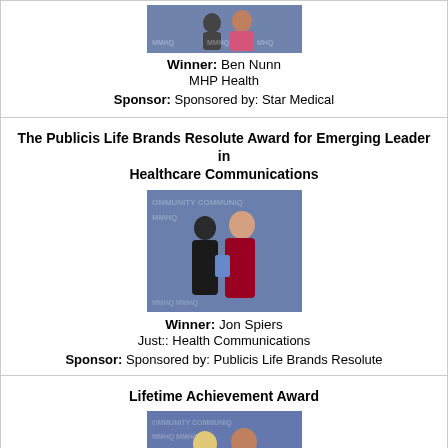[Figure (photo): Two people at an awards ceremony in front of a branded backdrop]
Winner: Ben Nunn
MHP Health
Sponsor: Sponsored by: Star Medical
The Publicis Life Brands Resolute Award for Emerging Leader in Healthcare Communications
[Figure (photo): Two people at an awards ceremony, man in tuxedo and woman in red dress]
Winner: Jon Spiers
Just:: Health Communications
Sponsor: Sponsored by: Publicis Life Brands Resolute
Lifetime Achievement Award
[Figure (photo): Two women in blue dresses at an awards ceremony]
Winner: Julia Cook
StarRock Healthcare and Healthcare Communications Association